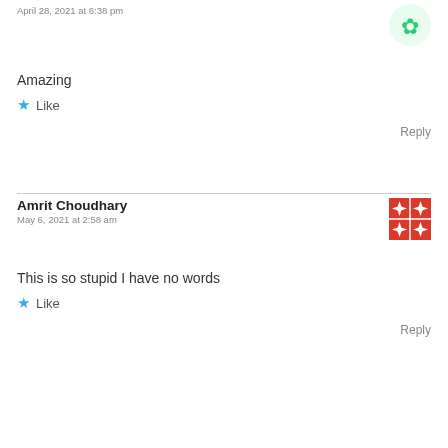April 28, 2021 at 6:38 pm
[Figure (logo): Green abstract logo/avatar icon in top right]
Amazing
★ Like
Reply
Amrit Choudhary
May 6, 2021 at 2:58 am
[Figure (illustration): Red and white geometric patterned square avatar]
This is so stupid I have no words
★ Like
Reply